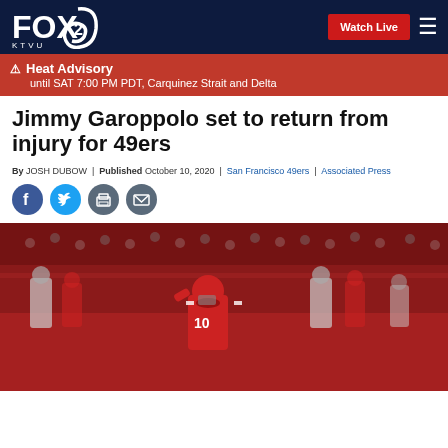FOX 2 KTVU | Watch Live
⚠ Heat Advisory until SAT 7:00 PM PDT, Carquinez Strait and Delta
Jimmy Garoppolo set to return from injury for 49ers
By JOSH DUBOW | Published October 10, 2020 | San Francisco 49ers | Associated Press
[Figure (photo): Jimmy Garoppolo #10 in red 49ers uniform on field with players in background]